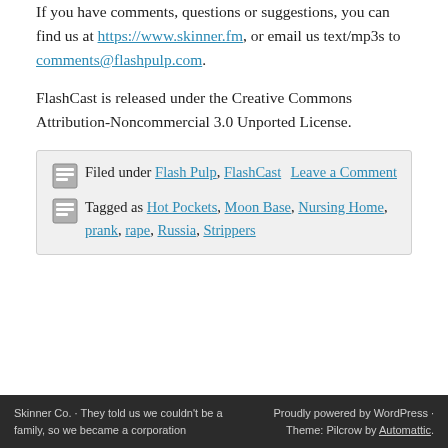If you have comments, questions or suggestions, you can find us at https://www.skinner.fm, or email us text/mp3s to comments@flashpulp.com.
FlashCast is released under the Creative Commons Attribution-Noncommercial 3.0 Unported License.
Filed under Flash Pulp, FlashCast  Leave a Comment
Tagged as Hot Pockets, Moon Base, Nursing Home, prank, rape, Russia, Strippers
Skinner Co. · They told us we couldn't be a family, so we became a corporation  Proudly powered by WordPress · Theme: Pilcrow by Automattic.